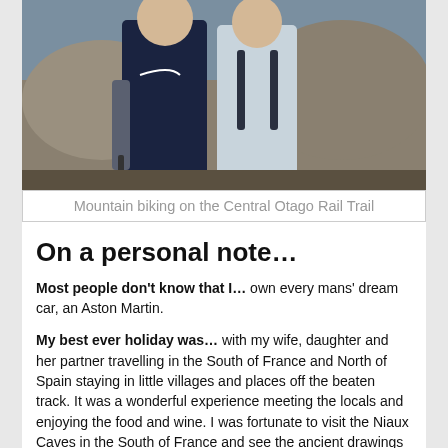[Figure (photo): Two people hiking/biking outdoors, one wearing a dark Nike shirt and the other wearing a light cycling jersey with a backpack]
Mountain biking on the Central Otago Rail Trail
On a personal note…
Most people don't know that I… own every mans' dream car, an Aston Martin.
My best ever holiday was… with my wife, daughter and her partner travelling in the South of France and North of Spain staying in little villages and places off the beaten track. It was a wonderful experience meeting the locals and enjoying the food and wine. I was fortunate to visit the Niaux Caves in the South of France and see the ancient drawings of cave bison. This artwork has a